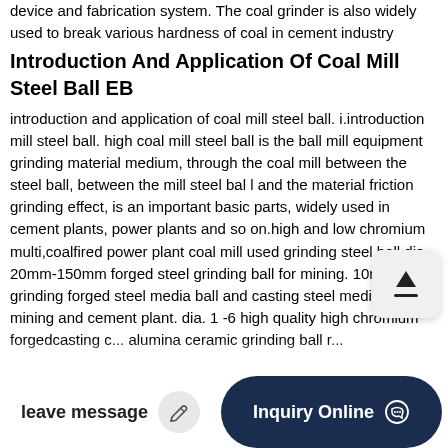device and fabrication system. The coal grinder is also widely used to break various hardness of coal in cement industry
Introduction And Application Of Coal Mill Steel Ball EB
introduction and application of coal mill steel ball. i.introduction mill steel ball. high coal mill steel ball is the ball mill equipment grinding material medium, through the coal mill between the steel ball, between the mill steel bal l and the material friction grinding effect, is an important basic parts, widely used in cement plants, power plants and so on.high and low chromium multi,coalfired power plant coal mill used grinding steel ball,dia 20mm-150mm forged steel grinding ball for mining. 10m 150mm grinding forged steel media ball and casting steel media ball for mining and cement plant. dia. 1 -6 high quality high chromium forgedcasting c... alumina ceramic grinding ball r...
leave message  Inquiry Online